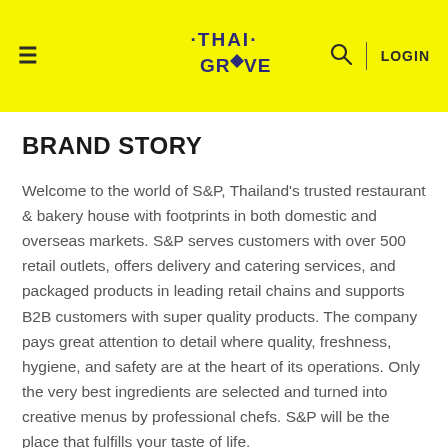THAI GROOVE — LOGIN
BRAND STORY
Welcome to the world of S&P, Thailand's trusted restaurant & bakery house with footprints in both domestic and overseas markets. S&P serves customers with over 500 retail outlets, offers delivery and catering services, and packaged products in leading retail chains and supports B2B customers with super quality products. The company pays great attention to detail where quality, freshness, hygiene, and safety are at the heart of its operations. Only the very best ingredients are selected and turned into creative menus by professional chefs. S&P will be the place that fulfills your taste of life.